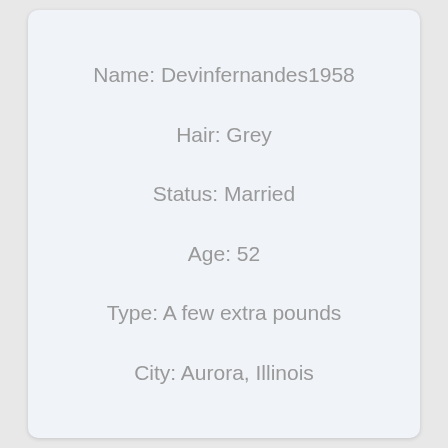Name: Devinfernandes1958
Hair: Grey
Status: Married
Age: 52
Type: A few extra pounds
City: Aurora, Illinois